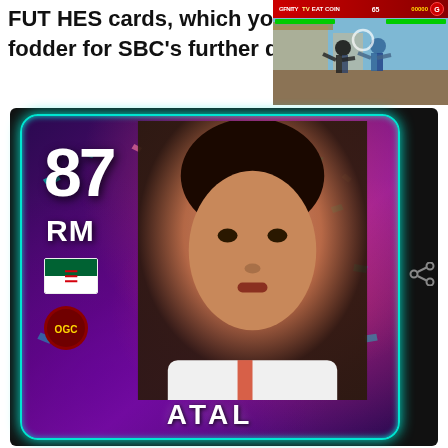FUT HES cards, which you can use as fodder for SBC's further do...
[Figure (screenshot): Screenshot of a fighting video game with a HUD showing health bars, coin count, and two characters fighting in an Asian temple setting]
[Figure (other): FIFA Ultimate Team player card showing rating 87, position RM, Algerian flag, OGC Nice club badge, and player ATAL]